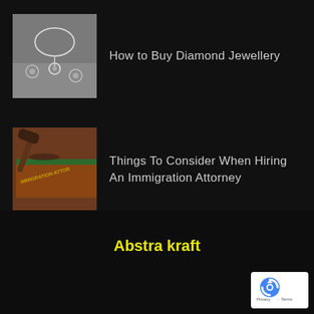How to Buy Diamond Jewellery
Things To Consider When Hiring An Immigration Attorney
Abstra kraft